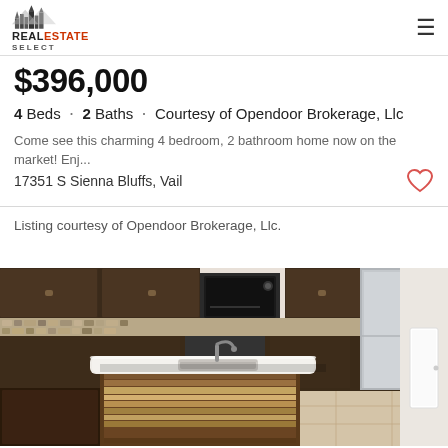REAL ESTATE SELECT
$396,000
4 Beds · 2 Baths · Courtesy of Opendoor Brokerage, Llc
Come see this charming 4 bedroom, 2 bathroom home now on the market! Enj...
17351 S Sienna Bluffs, Vail
Listing courtesy of Opendoor Brokerage, Llc.
[Figure (photo): Kitchen interior with dark wood cabinets, stainless steel appliances, mosaic tile backsplash, and a large kitchen island with white countertop and undermount sink]